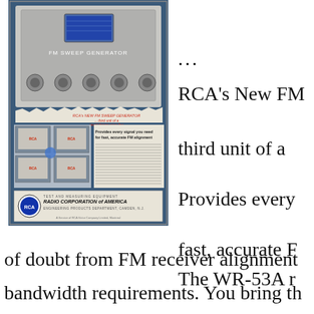[Figure (photo): Vintage RCA FM Sweep Generator advertisement showing test equipment photograph with the RCA logo and text 'Radio Corporation of America, Engineering Products Department, Camden, N.J.']
...
RCA's New FM
third unit of a
Provides every
fast, accurate F
The WR-53A r
of doubt from FM receiver alignment
bandwidth requirements. You bring th